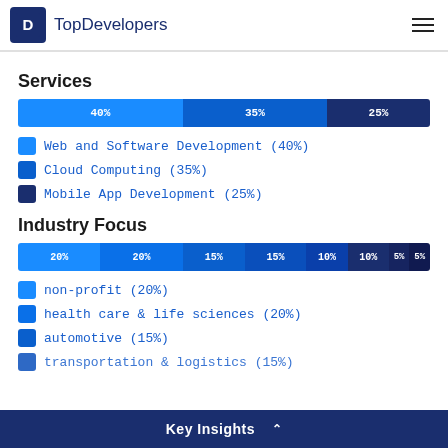TopDevelopers
Services
[Figure (stacked-bar-chart): Services]
Web and Software Development (40%)
Cloud Computing (35%)
Mobile App Development (25%)
Industry Focus
[Figure (stacked-bar-chart): Industry Focus]
non-profit (20%)
health care & life sciences (20%)
automotive (15%)
transportation & logistics (15%)
Key Insights ^